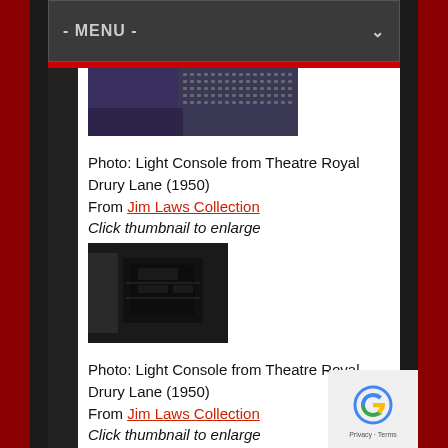- MENU -
[Figure (photo): Thumbnail photo of a light console from Theatre Royal Drury Lane (1950), showing rows of buttons/switches, partially cropped at top of page]
Photo: Light Console from Theatre Royal Drury Lane (1950)
From Jim Laws Collection
Click thumbnail to enlarge
[Figure (photo): Thumbnail photo of a light console from Theatre Royal Drury Lane (1950), dark equipment box visible]
Photo: Light Console from Theatre Royal Drury Lane (1950)
From Jim Laws Collection
Click thumbnail to enlarge
[Figure (photo): Partial thumbnail photo at bottom of page, cropped]